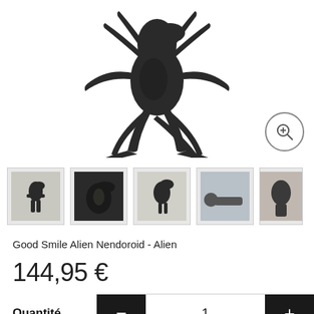[Figure (photo): Large dark alien action figure (Good Smile Nendoroid) in crouching pose with extended limbs, shown from the front against a white background, with a zoom/magnify button in the bottom-right corner]
[Figure (photo): Row of 5 product thumbnail images showing different views and poses of the Good Smile Alien Nendoroid figure, including a classic alien pose, close-up head shot, alternate angle, human figure lying down, and a partially visible fifth image]
Good Smile Alien Nendoroid - Alien
144,95 €
Quantité
1